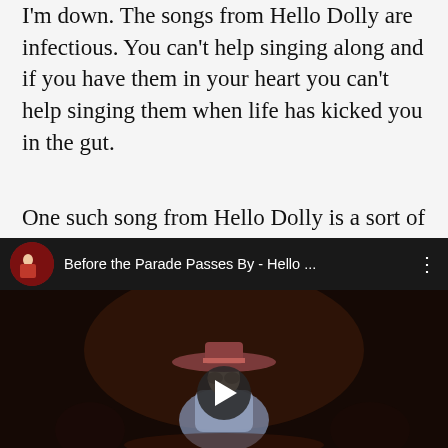I'm down.  The songs from Hello Dolly are infectious.  You can't help singing along and if you have them in your heart you can't help singing them when life has kicked you in the gut.
One such song from Hello Dolly is a sort of anthem for second chances.  The song is Before The Parade Passes by
[Figure (screenshot): Embedded YouTube video player showing 'Before the Parade Passes By - Hello ...' with a thumbnail of a performer in a wide-brimmed hat on a dark stage. A play button is visible at the center bottom.]